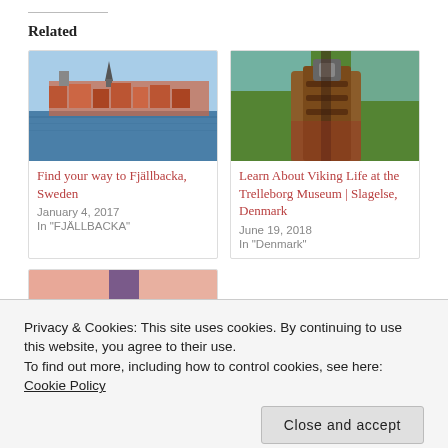Related
[Figure (photo): Photo of Fjällbacka, Sweden — coastal town with church spire across water]
Find your way to Fjällbacka, Sweden
January 4, 2017
In "FJÄLLBACKA"
[Figure (photo): Photo of Viking ship bow detail with carved wood at Trelleborg Museum, Denmark]
Learn About Viking Life at the Trelleborg Museum | Slagelse, Denmark
June 19, 2018
In "Denmark"
[Figure (photo): Partial photo — third related article card, partially visible]
Privacy & Cookies: This site uses cookies. By continuing to use this website, you agree to their use.
To find out more, including how to control cookies, see here: Cookie Policy
Close and accept